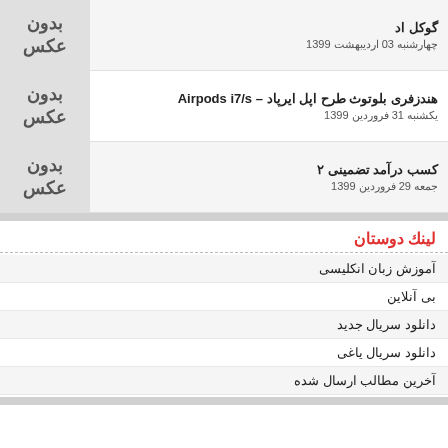گوکل اد
چهارشنبه 03 اردیبهشت 1399
هندزفری بلوتوث طرح اپل ایرپاد – Airpods i7/s
یکشنبه 31 فروردین 1399
کسب درآمد تضمینی ۲
جمعه 29 فروردین 1399
لینک دوستان
آموزش زبان انکلیسی
بی آنلاین
دانلود سریال جدید
دانلود سریال یاغی
آخرین مطالب ارسال شده